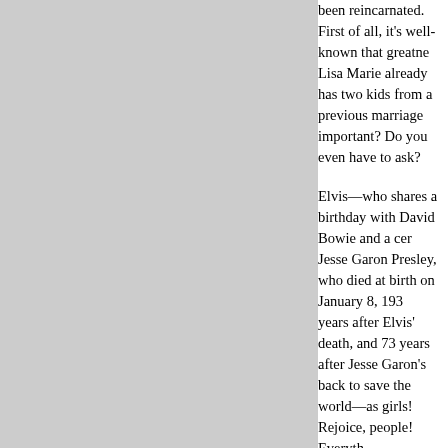been reincarnated. First of all, it's well-known that greatne... Lisa Marie already has two kids from a previous marriage... important? Do you even have to ask?
Elvis—who shares a birthday with David Bowie and a cer... Jesse Garon Presley, who died at birth on January 8, 193... years after Elvis' death, and 73 years after Jesse Garon's... back to save the world—as girls! Rejoice, people! Everyth... World, Source: The Gawker)
More on Lisa's twins: Lisa Marie Presley is a mom again... whose names were not released. One baby weighed 5 po... statement released Saturday says Presley gave birth by C... the births took place somewhere on the West Coast but w... healthy and resting at home." Presley is the daughter of E... 19-year-old daughter and a 15-year-old son by a previous...
CD release update: The "Christmas Duets" CD from SONY / BMG has been released. On this album a variety... of female country stars sings a duet with Elvis Presley an... three Christmas songs were remixed with new instrumen... and vocal backings.
The import release "Then Sings My Soul" from the Rainbow Records import label is available too. The doubl... CD contains the never before released Midnight Show of... May 7, 1976 from the 1976 Sahara Tahoe – Engagement... Both discs run close to 80 minutes and the package come...